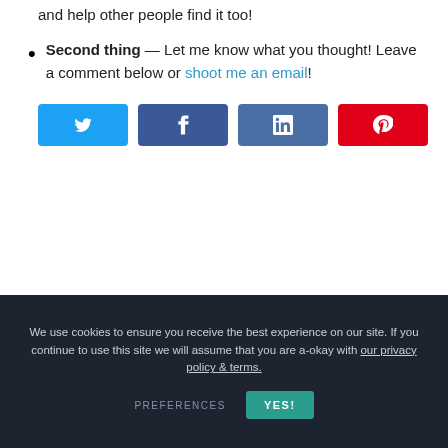and help other people find it too!
Second thing — Let me know what you thought! Leave a comment below or shoot me an email!
[Figure (infographic): Four social share buttons: Twitter (light blue), Facebook (dark blue), LinkedIn (medium blue), Pinterest (red), each with their respective icons]
We use cookies to ensure you receive the best experience on our site. If you continue to use this site we will assume that you are a-okay with our privacy policy & terms.
PREFERENCES   YES!